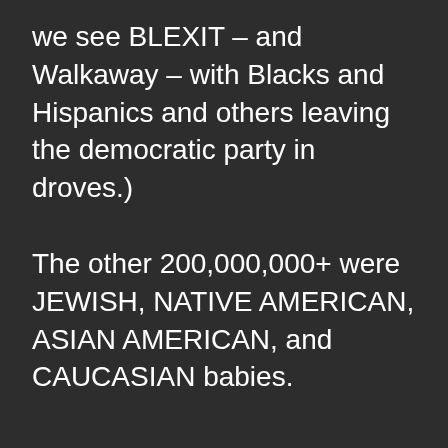we see BLEXIT – and Walkaway – with Blacks and Hispanics and others leaving the democratic party in droves.)
The other 200,000,000+ were JEWISH, NATIVE AMERICAN, ASIAN AMERICAN, and CAUCASIAN babies.